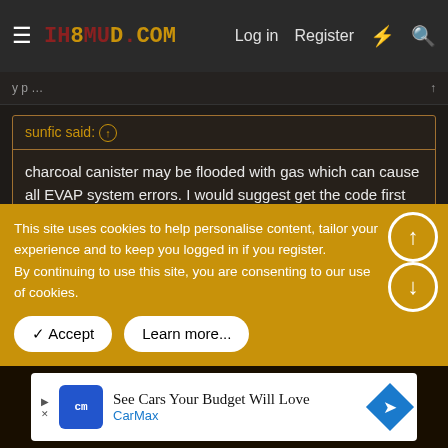IH8MUD.COM — Log in  Register
sunfic said: ↑
charcoal canister may be flooded with gas which can cause all EVAP system errors. I would suggest get the code first no matter what.
Thank you Sunfic!
This site uses cookies to help personalise content, tailor your experience and to keep you logged in if you register.
By continuing to use this site, you are consenting to our use of cookies.
Accept  Learn more...
See Cars Your Budget Will Love — CarMax